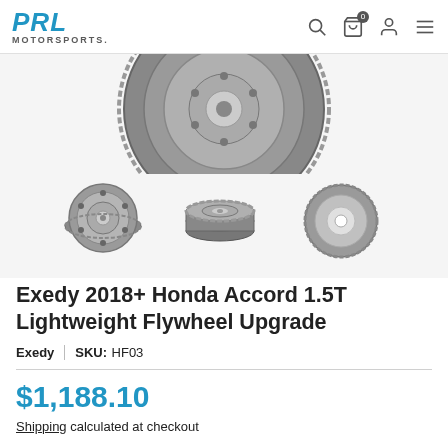PRL MOTORSPORTS
[Figure (photo): Exedy lightweight flywheel product photos: one large partially-cropped view of the flywheel top showing gear ring teeth, and three smaller thumbnail views from different angles]
Exedy 2018+ Honda Accord 1.5T Lightweight Flywheel Upgrade
Exedy | SKU: HF03
$1,188.10
Shipping calculated at checkout